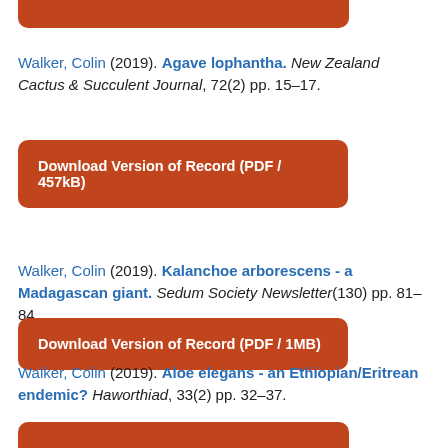[Figure (other): Partial orange download button (cropped at top of page)]
Walker, Colin (2019). Agave lophantha. New Zealand Cactus & Succulent Journal, 72(2) pp. 15–17.
Download Version of Record (PDF / 457kB)
Walker, Colin (2019). Kalanchoe arborescens - a Madagascan giant. Sedum Society Newsletter(130) pp. 81–84.
Download Version of Record (PDF / 1MB)
Walker, Colin (2019). Aloe elegans - an Ethiopian/Eritrean endemic? Haworthiad, 33(2) pp. 32–37.
[Figure (other): Partial orange download button (cropped at bottom of page)]